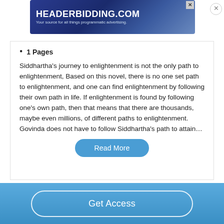[Figure (screenshot): HeaderBidding.com advertisement banner with blue gradient background. Text: HEADERBIDDING.COM / Your source for all things programmatic advertising.]
1 Pages
Siddhartha's journey to enlightenment is not the only path to enlightenment, Based on this novel, there is no one set path to enlightenment, and one can find enlightenment by following their own path in life. If enlightenment is found by following one's own path, then that means that there are thousands, maybe even millions, of different paths to enlightenment. Govinda does not have to follow Siddhartha's path to attain…
Read More
Get Access